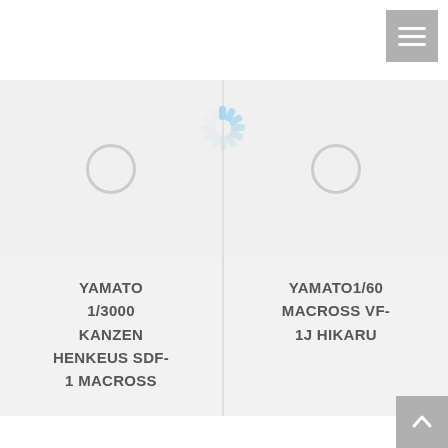[Figure (screenshot): Navigation hamburger menu button in top-right corner, gray background with three white horizontal lines]
[Figure (screenshot): Product card: light gray background with unloaded image placeholder circle, labeled YAMATO 1/3000 KANZEN HENKEUS SDF-1 MACROSS]
[Figure (screenshot): Loading spinner in blue/light blue between the two product cards]
[Figure (screenshot): Product card: light gray background with unloaded image placeholder circle, labeled YAMATO1/60 MACROSS VF-1J HIKARU]
[Figure (screenshot): Scroll-to-top button in bottom-right corner, gray background with white upward arrow]